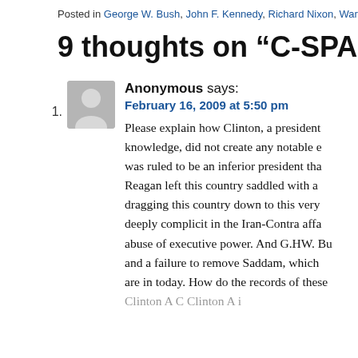Posted in George W. Bush, John F. Kennedy, Richard Nixon, Warren G. H...
9 thoughts on “C-SPAN’s Presidenti…”
1. Anonymous says:
February 16, 2009 at 5:50 pm
Please explain how Clinton, a president knowledge, did not create any notable e was ruled to be an inferior president tha Reagan left this country saddled with a dragging this country down to this very deeply complicit in the Iran-Contra affa abuse of executive power. And G.HW. Bu and a failure to remove Saddam, which are in today. How do the records of these Clinton A C Clinton A i